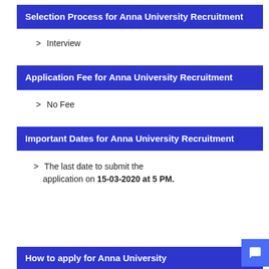Selection Process for Anna University Recruitment
> Interview
Application Fee for Anna University Recruitment
> No Fee
Important Dates for Anna University Recruitment
> The last date to submit the application on 15-03-2020 at 5 PM.
How to apply for Anna University